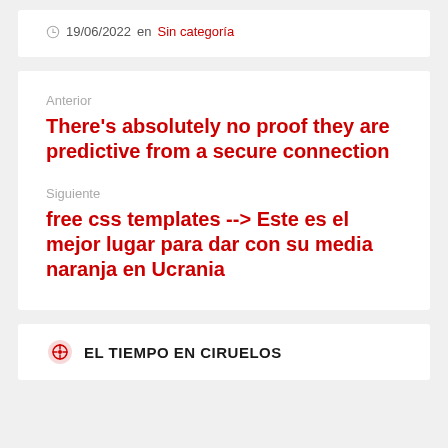19/06/2022 en Sin categoría
Anterior
There's absolutely no proof they are predictive from a secure connection
Siguiente
free css templates --> Este es el mejor lugar para dar con su media naranja en Ucrania
EL TIEMPO EN CIRUELOS